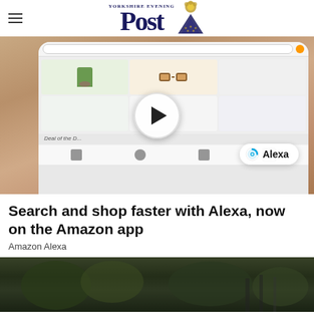Yorkshire Evening Post
[Figure (photo): Hand holding a smartphone showing the Amazon shopping app with product grid, Alexa badge, and a play button overlay in the center]
Search and shop faster with Alexa, now on the Amazon app
Amazon Alexa
[Figure (photo): Outdoor scene, partially visible at the bottom of the page, appears to show trees or a park setting in dark tones]